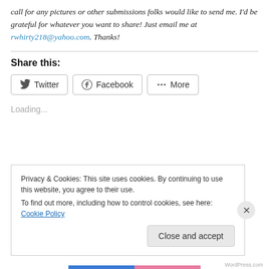call for any pictures or other submissions folks would like to send me. I'd be grateful for whatever you want to share! Just email me at rwhirty218@yahoo.com. Thanks!
Share this:
[Figure (other): Social share buttons: Twitter, Facebook, More]
Loading...
Privacy & Cookies: This site uses cookies. By continuing to use this website, you agree to their use. To find out more, including how to control cookies, see here: Cookie Policy